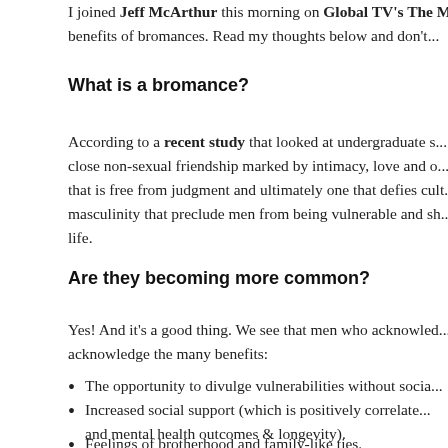I joined Jeff McArthur this morning on Global TV's The M... benefits of bromances. Read my thoughts below and don't...
What is a bromance?
According to a recent study that looked at undergraduate s... close non-sexual friendship marked by intimacy, love and o... that is free from judgment and ultimately one that defies cult... masculinity that preclude men from being vulnerable and sh... life.
Are they becoming more common?
Yes! And it's a good thing. We see that men who acknowled... acknowledge the many benefits:
The opportunity to divulge vulnerabilities without socia...
Increased social support (which is positively correlate... and mental health outcomes & longevity).
Feelings of brotherhood and family-like ties.
Opportunities to discuss topics that were previously c...